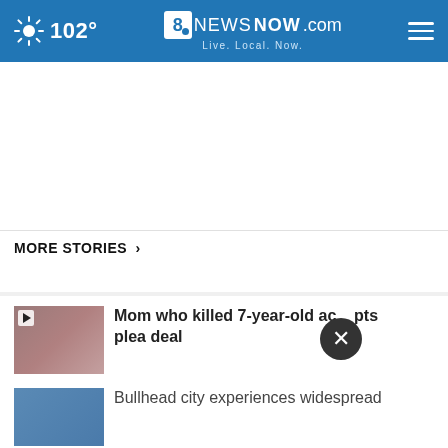102° 8NewsNow.com Live. Local. Now.
MORE STORIES ›
[Figure (photo): Thumbnail photo of a woman for news story about mom who killed 7-year-old]
Mom who killed 7-year-old accepts plea deal
[Figure (photo): Thumbnail photo for Bullhead city story]
Bullhead city experiences widespread